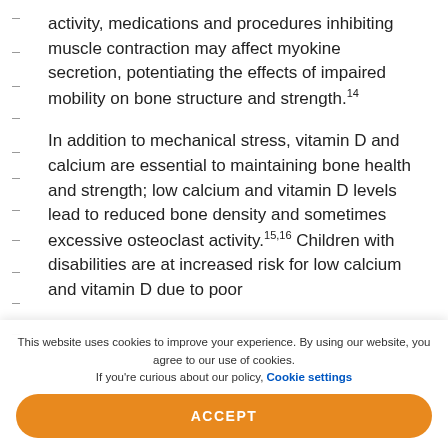activity, medications and procedures inhibiting muscle contraction may affect myokine secretion, potentiating the effects of impaired mobility on bone structure and strength.14
In addition to mechanical stress, vitamin D and calcium are essential to maintaining bone health and strength; low calcium and vitamin D levels lead to reduced bone density and sometimes excessive osteoclast activity.15,16 Children with disabilities are at increased risk for low calcium and vitamin D due to poor
This website uses cookies to improve your experience. By using our website, you agree to our use of cookies. If you're curious about our policy, Cookie settings
ACCEPT